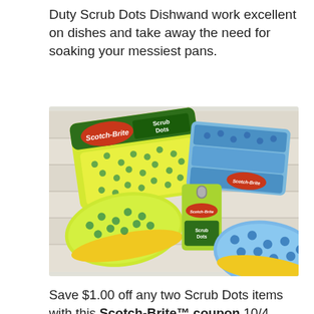Duty Scrub Dots Dishwand work excellent on dishes and take away the need for soaking your messiest pans.
[Figure (photo): Photo of Scotch-Brite Scrub Dots sponge products on a white wooden surface. Visible are packaged multi-packs of yellow-green scrub sponges with teal dot patterns and blue/white sponges, plus individual Scrub Dots dishwand refill heads in yellow-green and blue.]
Save $1.00 off any two Scrub Dots items with this Scotch-Brite™ coupon 10/4 – 12/31.